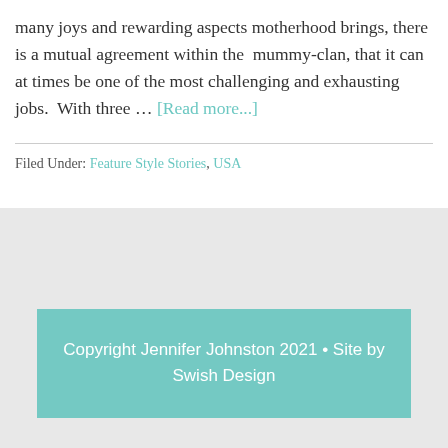many joys and rewarding aspects motherhood brings, there is a mutual agreement within the  mummy-clan, that it can at times be one of the most challenging and exhausting jobs.  With three … [Read more...]
Filed Under: Feature Style Stories, USA
Copyright Jennifer Johnston 2021 • Site by Swish Design